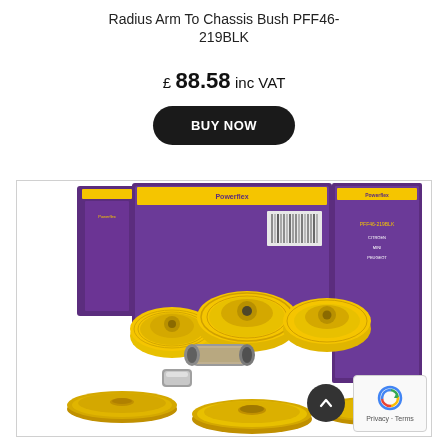Radius Arm To Chassis Bush PFF46-219BLK
£ 88.58 inc VAT
[Figure (other): BUY NOW button — black rounded rectangle with white text]
[Figure (photo): Product photo showing yellow polyurethane bushes and metal sleeves/washers from Powerflex brand with purple branded packaging in background]